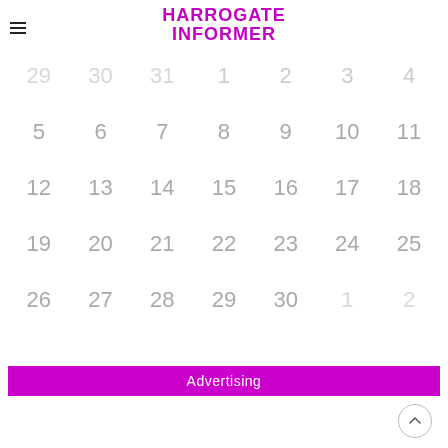HARROGATE INFORMER
| Sun | Mon | Tue | Wed | Thu | Fri | Sat |
| --- | --- | --- | --- | --- | --- | --- |
| 29 | 30 | 31 | 1 | 2 | 3 | 4 |
| 5 | 6 | 7 | 8 | 9 | 10 | 11 |
| 12 | 13 | 14 | 15 | 16 | 17 | 18 |
| 19 | 20 | 21 | 22 | 23 | 24 | 25 |
| 26 | 27 | 28 | 29 | 30 | 1 | 2 |
Advertising